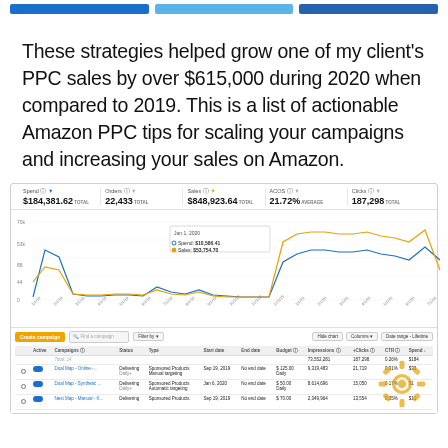[Figure (screenshot): Three blue button/tab elements at the top of the page]
These strategies helped grow one of my client's PPC sales by over $615,000 during 2020 when compared to 2019. This is a list of actionable Amazon PPC tips for scaling your campaigns and increasing your sales on Amazon.
[Figure (screenshot): Amazon PPC dashboard screenshot showing metrics: Spend $184,381.62 total, Orders 22,433 total, Sales $848,923.64 total, ACOS 21.72% average, Clicks 187,298 total. Line chart showing Spend and Sales over time with tooltip showing Jan 1 2020: Spend $10,586.41, Sales $53,754.70. Below is a campaign table with columns for Active, Campaigns, Status, Type, Start date, End date, Budget, Impressions, +Clicks, CTR, Spend. Rows include Dual Map - Online campaign, Dual Map - Synthetic campaign, and Nest Map - Manual campaign.]